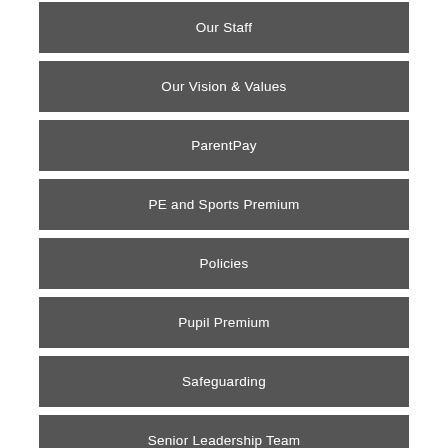Our Staff
Our Vision & Values
ParentPay
PE and Sports Premium
Policies
Pupil Premium
Safeguarding
Senior Leadership Team